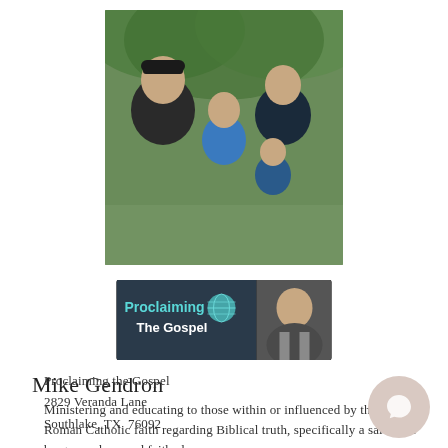[Figure (photo): Family photo showing four people (man in cap, woman, and two children) outdoors with greenery in background]
[Figure (logo): Proclaiming The Gospel ministry logo with text and a person's photo on the right side]
Mike Gendron
Ministering and educating to those within or influenced by the Roman Catholic faith regarding Biblical truth, specifically a salvation by grace alone and faith alone
Proclaiming the Gospel
2829 Veranda Lane
Southlake, TX  76092